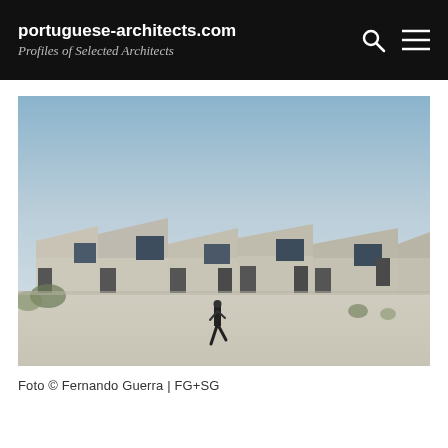portuguese-architects.com — Profiles of Selected Architects
[Figure (photo): Exterior photograph of a row of single-storey concrete buildings with angular/pitched rooflines and large window openings. A person is walking across the foreground on a light-coloured paved surface. Sky is light blue-grey. Photo credit: Fernando Guerra | FG+SG]
Foto © Fernando Guerra | FG+SG